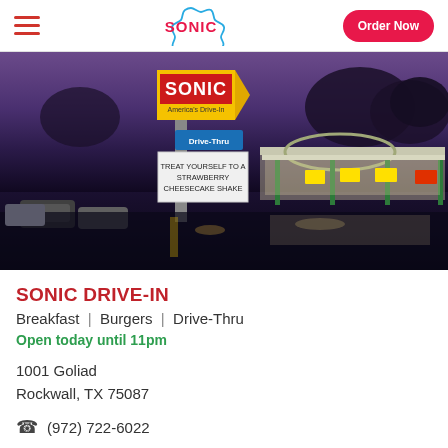SONIC | Order Now
[Figure (photo): Night photo of a Sonic Drive-In restaurant exterior with illuminated sign reading SONIC America's Drive-In, Drive-Thru sign, and a marquee reading TREAT YOURSELF TO A STRAWBERRY CHEESECAKE SHAKE. Cars visible in parking lot, lit canopy structure with green poles.]
SONIC DRIVE-IN
Breakfast | Burgers | Drive-Thru
Open today until 11pm
1001 Goliad
Rockwall, TX 75087
(972) 722-6022